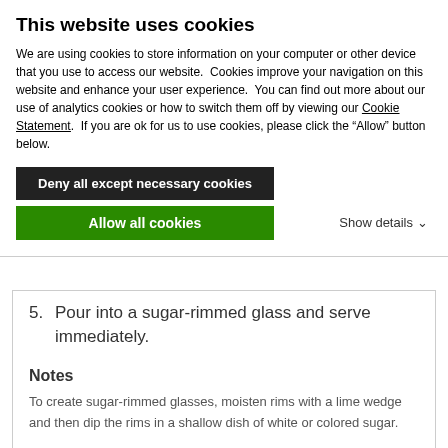This website uses cookies
We are using cookies to store information on your computer or other device that you use to access our website.  Cookies improve your navigation on this website and enhance your user experience.  You can find out more about our use of analytics cookies or how to switch them off by viewing our Cookie Statement.  If you are ok for us to use cookies, please click the “Allow” button below.
Deny all except necessary cookies
Allow all cookies
Show details
5. Pour into a sugar-rimmed glass and serve immediately.
Notes
To create sugar-rimmed glasses, moisten rims with a lime wedge and then dip the rims in a shallow dish of white or colored sugar.